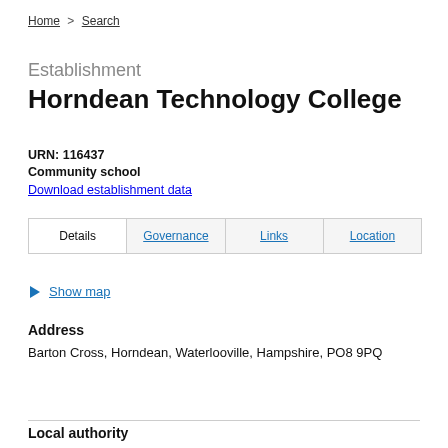Home > Search
Establishment
Horndean Technology College
URN: 116437
Community school
Download establishment data
| Details | Governance | Links | Location |
| --- | --- | --- | --- |
Show map
Address
Barton Cross, Horndean, Waterlooville, Hampshire, PO8 9PQ
Local authority